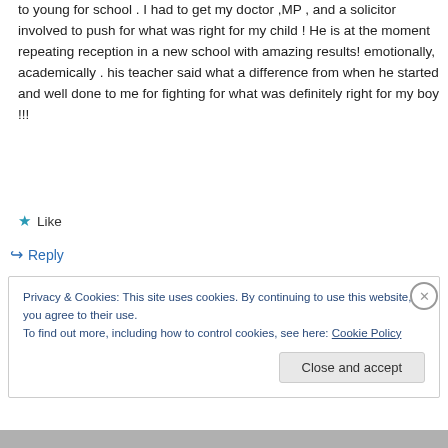to young for school . I had to get my doctor ,MP , and a solicitor involved to push for what was right for my child ! He is at the moment repeating reception in a new school with amazing results! emotionally, academically . his teacher said what a difference from when he started and well done to me for fighting for what was definitely right for my boy !!!
★ Like
↪ Reply
Privacy & Cookies: This site uses cookies. By continuing to use this website, you agree to their use.
To find out more, including how to control cookies, see here: Cookie Policy
Close and accept